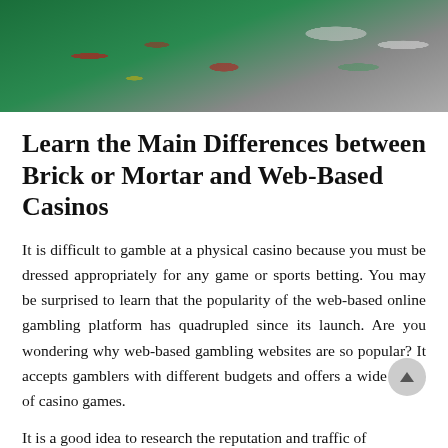[Figure (photo): Casino scene showing playing cards, poker chips, and a laptop on a green felt table surface — representing both physical and online gambling.]
Learn the Main Differences between Brick or Mortar and Web-Based Casinos
It is difficult to gamble at a physical casino because you must be dressed appropriately for any game or sports betting. You may be surprised to learn that the popularity of the web-based online gambling platform has quadrupled since its launch. Are you wondering why web-based gambling websites are so popular? It accepts gamblers with different budgets and offers a wide range of casino games.
It is a good idea to research the reputation and traffic of